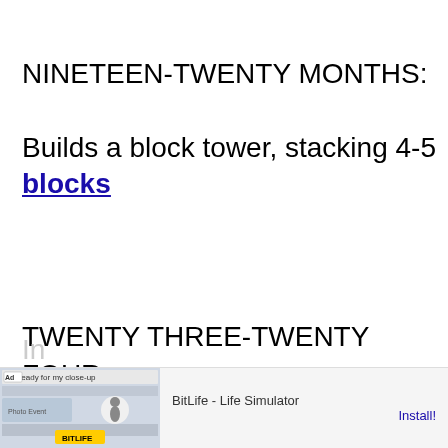NINETEEN-TWENTY MONTHS:
Builds a block tower, stacking 4-5 blocks
TWENTY THREE-TWENTY FOUR MONTHS:
[Figure (screenshot): Advertisement banner for BitLife - Life Simulator app with Install button]